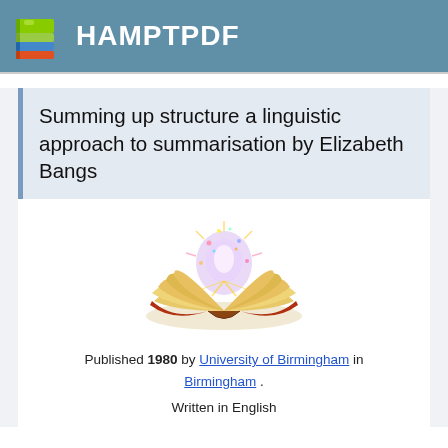HAMPTPDF
Summing up structure a linguistic approach to summarisation by Elizabeth Bangs
[Figure (illustration): An open book with magical glowing light rising from its pages, illustrated in a fantasy style with golden pages fanned out and colorful sparkles above.]
Published 1980 by University of Birmingham in Birmingham .
Written in English